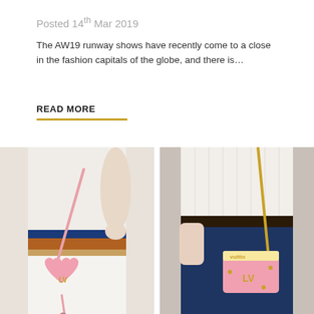Posted 14th Mar 2019
The AW19 runway shows have recently come to a close in the fashion capitals of the globe, and there is…
READ MORE
[Figure (photo): Two fashion product photos side by side showing Louis Vuitton pink handbags. Left photo: a pink heart-shaped LV crossbody bag on a model wearing white outfit with colorful striped skirt. Right photo: a pink rectangular LV chain bag on a model wearing denim mini skirt and white sweater.]